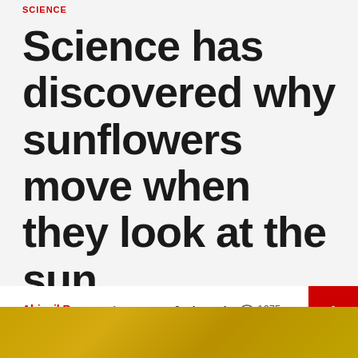SCIENCE
Science has discovered why sunflowers move when they look at the sun
Abigail Brewer  1 year ago  3 min read  1675
[Figure (photo): Golden/yellow sunflower field image at the bottom of the page]